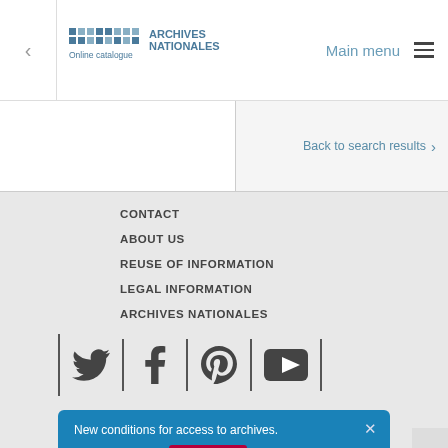Archives Nationales Online catalogue — Main menu navigation bar
Back to search results
CONTACT
ABOUT US
REUSE OF INFORMATION
LEGAL INFORMATION
ARCHIVES NATIONALES
[Figure (infographic): Social media icons row: Twitter, Facebook, Pinterest, YouTube separated by vertical dividers]
New conditions for access to archives. Find out more > Click here